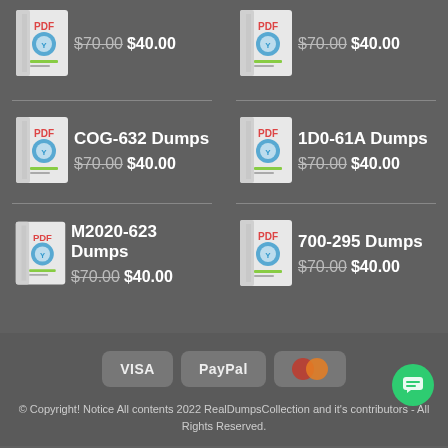[Figure (illustration): PDF book product image - top left partial]
$70.00 $40.00
[Figure (illustration): PDF book product image - top right partial]
$70.00 $40.00
COG-632 Dumps
$70.00 $40.00
1D0-61A Dumps
$70.00 $40.00
M2020-623 Dumps
$70.00 $40.00
700-295 Dumps
$70.00 $40.00
[Figure (other): Payment icons: VISA, PayPal, MasterCard]
© Copyright! Notice All contents 2022 RealDumpsCollection and it's contributors - All Rights Reserved.